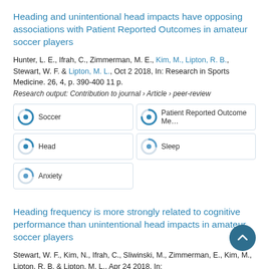Heading and unintentional head impacts have opposing associations with Patient Reported Outcomes in amateur soccer players
Hunter, L. E., Ifrah, C., Zimmerman, M. E., Kim, M., Lipton, R. B., Stewart, W. F. & Lipton, M. L., Oct 2 2018, In: Research in Sports Medicine. 26, 4, p. 390-400 11 p.
Research output: Contribution to journal › Article › peer-review
[Figure (infographic): Five keyword badges: Soccer (100%), Patient Reported Outcome Measures (100%), Head (75%), Sleep (50%), Anxiety (50%)]
Heading frequency is more strongly related to cognitive performance than unintentional head impacts in amateur soccer players
Stewart, W. F., Kim, N., Ifrah, C., Sliwinski, M., Zimmerman, E., Kim, M., Lipton, R. B. & Lipton, M. L., Apr 24 2018, In: